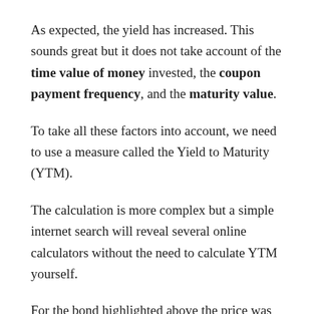As expected, the yield has increased. This sounds great but it does not take account of the time value of money invested, the coupon payment frequency, and the maturity value.
To take all these factors into account, we need to use a measure called the Yield to Maturity (YTM).
The calculation is more complex but a simple internet search will reveal several online calculators without the need to calculate YTM yourself.
For the bond highlighted above the price was £99.50 on the 12th March 2020, meaning the yield would be slightly higher than than the listed 5.125%.
It gets much more interesting when the markets crash